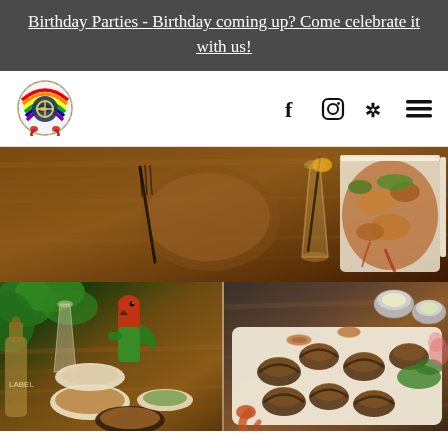Birthday Parties - Birthday coming up? Come celebrate it with us!
[Figure (logo): Restaurant logo — colorful circular emblem with fish/nautical motif]
[Figure (photo): Top: overhead view of seafood dish on wooden board with drinks on rustic wood table]
[Figure (photo): Bottom left: restaurant table scene with parrot figurine, drinks, and multiple seafood dishes]
[Figure (photo): Bottom right: large platter of mussels/shellfish with dipping sauces, garnished with greens]